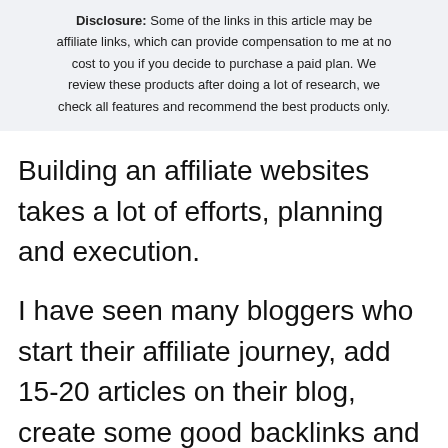Disclosure: Some of the links in this article may be affiliate links, which can provide compensation to me at no cost to you if you decide to purchase a paid plan. We review these products after doing a lot of research, we check all features and recommend the best products only.
Building an affiliate websites takes a lot of efforts, planning and execution.
I have seen many bloggers who start their affiliate journey, add 15-20 articles on their blog, create some good backlinks and ultimately quit because they fail to rank their blog.